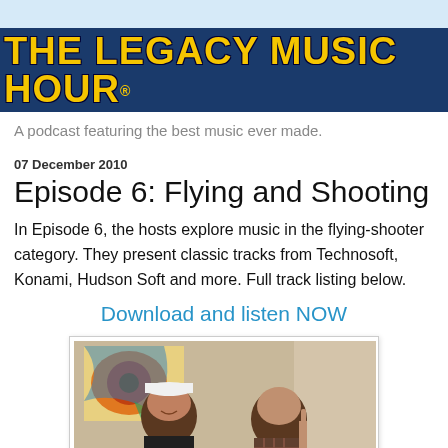THE LEGACY MUSIC HOUR®
A podcast featuring the best music ever made.
07 December 2010
Episode 6: Flying and Shooting
In Episode 6, the hosts explore music in the flying-shooter category.  They present classic tracks from Technosoft, Konami, Hudson Soft and more.  Full track listing below.
Download and listen NOW
[Figure (photo): Two men posing indoors in front of a colorful abstract painting. The man on the left is smiling and wearing a cap and t-shirt, the man on the right looks serious and is wearing a plaid shirt.]